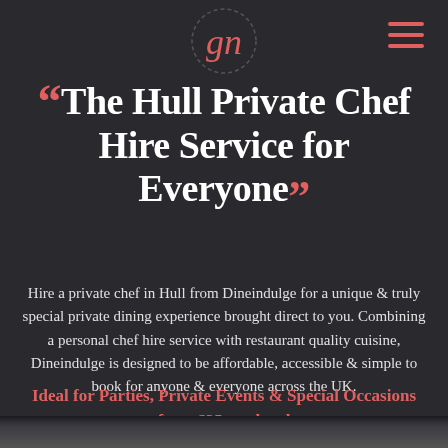[Figure (logo): Cursive 'Gn' logo in red/coral on dark background with dotted circle border]
“The Hull Private Chef Hire Service for Everyone”
Hire a private chef in Hull from Dineindulge for a unique & truly special private dining experience brought direct to you. Combining a personal chef hire service with restaurant quality cuisine, Dineindulge is designed to be affordable, accessible & simple to book for anyone & everyone across the UK.
Ideal for Parties, Private Events & Special Occasions from £25 per head